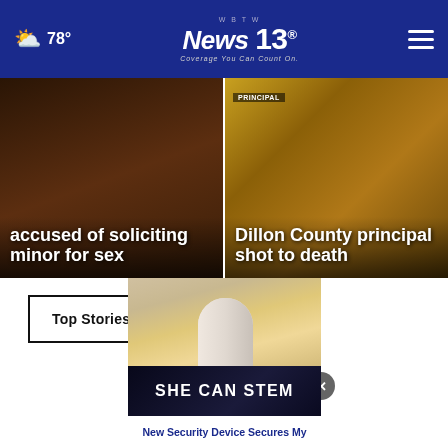78° | W B T W News 13 | Coverage You Can Count On.
[Figure (screenshot): News card: accused of soliciting minor for sex]
[Figure (screenshot): News card: Dillon County principal shot to death]
Top Stories ›
[Figure (photo): Hand holding a white security camera device]
SHE CAN STEM
New Security Device Secures My